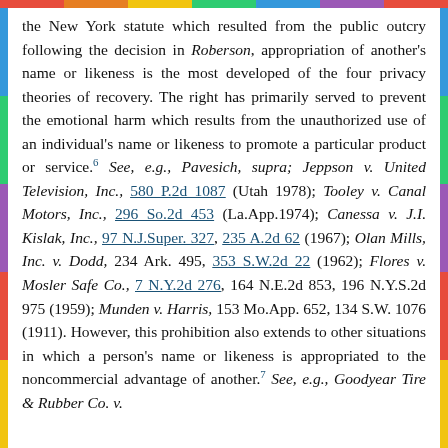the New York statute which resulted from the public outcry following the decision in Roberson, appropriation of another's name or likeness is the most developed of the four privacy theories of recovery. The right has primarily served to prevent the emotional harm which results from the unauthorized use of an individual's name or likeness to promote a particular product or service. 6 See, e.g., Pavesich, supra; Jeppson v. United Television, Inc., 580 P.2d 1087 (Utah 1978); Tooley v. Canal Motors, Inc., 296 So.2d 453 (La.App.1974); Canessa v. J.I. Kislak, Inc., 97 N.J.Super. 327, 235 A.2d 62 (1967); Olan Mills, Inc. v. Dodd, 234 Ark. 495, 353 S.W.2d 22 (1962); Flores v. Mosler Safe Co., 7 N.Y.2d 276, 164 N.E.2d 853, 196 N.Y.S.2d 975 (1959); Munden v. Harris, 153 Mo.App. 652, 134 S.W. 1076 (1911). However, this prohibition also extends to other situations in which a person's name or likeness is appropriated to the noncommercial advantage of another. 7 See, e.g., Goodyear Tire & Rubber Co. v.